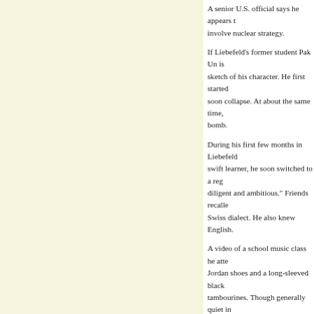A senior U.S. official says he appears to involve nuclear strategy.
If Liebefeld's former student Pak Un is sketch of his character. He first started soon collapse. At about the same time, bomb.
During his first few months in Liebefeld swift learner, he soon switched to a reg diligent and ambitious." Friends recalled Swiss dialect. He also knew English.
A video of a school music class he atte Jordan shoes and a long-sleeved black tambourines. Though generally quiet in personality on the basketball court, for of the National Basketball Association. fiercely competitive player.
“He was very explosive. He could make specialist in the Swiss army. “If I wasn’t
Marco Imhof, another Swiss basketball hated to lose. Winning was very import particularly those starring the Hong Kor
This picture of a focused, competitive y That was provided by a Japanese sushi who wrote a book on his experiences in proud and “boss-like.”
During his time in Liebefeld, friends re